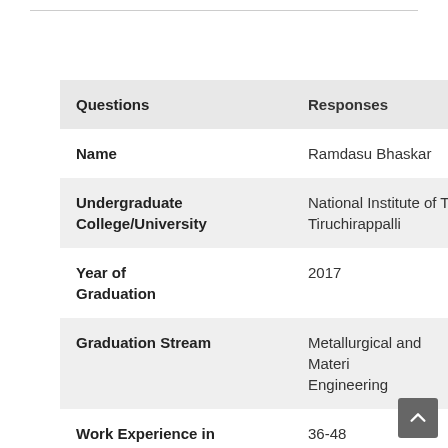| Questions | Responses |
| --- | --- |
| Name | Ramdasu Bhaskar |
| Undergraduate College/University | National Institute of Technology, Tiruchirappalli |
| Year of Graduation | 2017 |
| Graduation Stream | Metallurgical and Materials Engineering |
| Work Experience in | 36-48 |